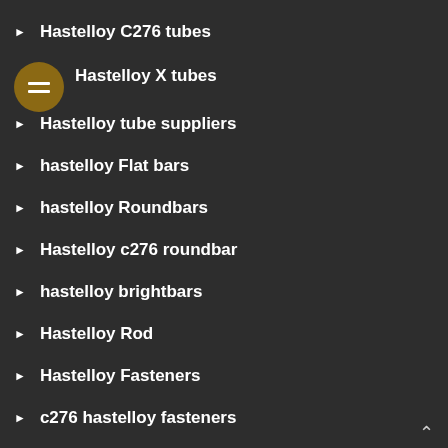Hastelloy C276 tubes
Hastelloy X tubes
Hastelloy tube suppliers
hastelloy Flat bars
hastelloy Roundbars
Hastelloy c276 roundbar
hastelloy brightbars
Hastelloy Rod
Hastelloy Fasteners
c276 hastelloy fasteners
hastelloy fittings suppliers
hastelloy pipe fittings
hastelloy pipe flanges
hastelloy c22 pipe fittings